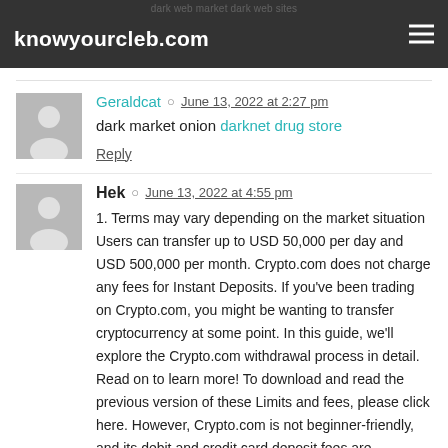knowyourcleb.com
Geraldcat   June 13, 2022 at 2:27 pm
dark market onion darknet drug store
Reply
Hek   June 13, 2022 at 4:55 pm
1. Terms may vary depending on the market situation Users can transfer up to USD 50,000 per day and USD 500,000 per month. Crypto.com does not charge any fees for Instant Deposits. If you've been trading on Crypto.com, you might be wanting to transfer cryptocurrency at some point. In this guide, we'll explore the Crypto.com withdrawal process in detail. Read on to learn more! To download and read the previous version of these Limits and fees, please click here. However, Crypto.com is not beginner-friendly, and its debit and credit card deposit fees are extremely high at 3-4%, which is why we recommend CoinSmart instead. CoinSmart has extremely low trading fees